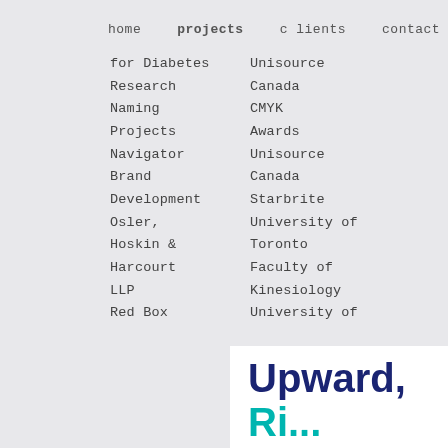home  projects  clients  contact
for Diabetes
Research
Naming
Projects
Navigator
Brand
Development
Osler,
Hoskin &
Harcourt
LLP
Red Box
Unisource
Canada
CMYK
Awards
Unisource
Canada
Starbrite
University of
Toronto
Faculty of
Kinesiology
University of
[Figure (logo): Upward brand logo with large bold text 'Upward,' in dark navy and teal colors on white background]